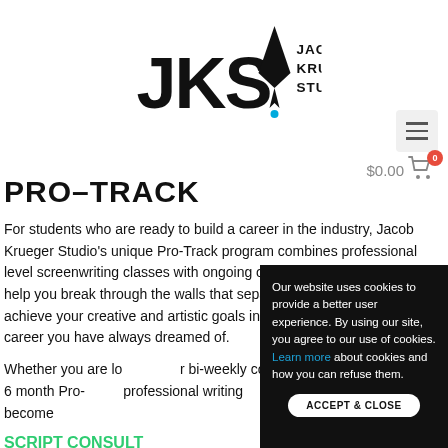[Figure (logo): JKS Jacob Krueger Studio logo with pen nib icon and blue dot]
PRO-TRACK
For students who are ready to build a career in the industry, Jacob Krueger Studio's unique Pro-Track program combines professional level screenwriting classes with ongoing one-on-one mentorship, to help you break through the walls that separate you from the industry, achieve your creative and artistic goals in your writing and build the career you have always dreamed of.
Whether you are looking for bi-weekly coaching, a Pro-Track, or our 6 month Pro- professional writing your project and become
SCRIPT CONSULT
Script consultations
Our website uses cookies to provide a better user experience. By using our site, you agree to our use of cookies. Learn more about cookies and how you can refuse them.
ACCEPT & CLOSE